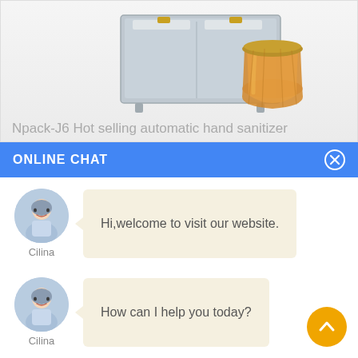[Figure (photo): Product image showing Npack-J6 automatic filling machine (stainless steel cabinet with two yellow clasps) alongside an amber hexagonal glass jar with gold lid]
Npack-J6 Hot selling automatic hand sanitizer
ONLINE CHAT
[Figure (illustration): Avatar of chat agent Cilina - woman in light blue shirt]
Hi,welcome to visit our website.
Cilina
[Figure (illustration): Avatar of chat agent Cilina - woman in light blue shirt]
How can I help you today?
Cilina